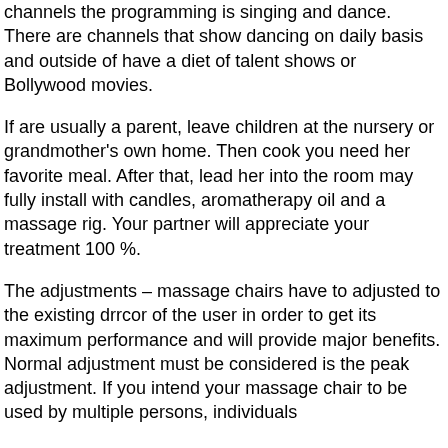channels the programming is singing and dance. There are channels that show dancing on daily basis and outside of have a diet of talent shows or Bollywood movies.
If are usually a parent, leave children at the nursery or grandmother's own home. Then cook you need her favorite meal. After that, lead her into the room may fully install with candles, aromatherapy oil and a massage rig. Your partner will appreciate your treatment 100 %.
The adjustments – massage chairs have to adjusted to the existing drrcor of the user in order to get its maximum performance and will provide major benefits. Normal adjustment must be considered is the peak adjustment. If you intend your massage chair to be used by multiple persons, individuals